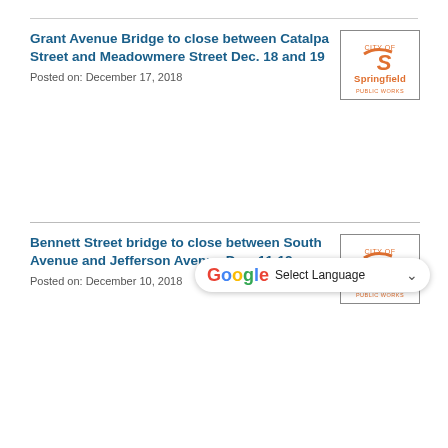Grant Avenue Bridge to close between Catalpa Street and Meadowmere Street Dec. 18 and 19
Posted on: December 17, 2018
Bennett Street bridge to close between South Avenue and Jefferson Avenue Dec. 11-12
Posted on: December 10, 2018
Scenic Avenue to close at railroad crossing north of Battlefield Road Dec. 11-12
Posted on: December 7, 2018
Grand Street Bridge to open temporarily to traffic
Posted on: December 3, 2018